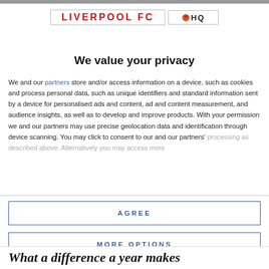[Figure (logo): Liverpool FC HQ logo with red text on white background with border]
We value your privacy
We and our partners store and/or access information on a device, such as cookies and process personal data, such as unique identifiers and standard information sent by a device for personalised ads and content, ad and content measurement, and audience insights, as well as to develop and improve products. With your permission we and our partners may use precise geolocation data and identification through device scanning. You may click to consent to our and our partners' processing as described above. Alternatively you may access more
AGREE
MORE OPTIONS
What a difference a year makes